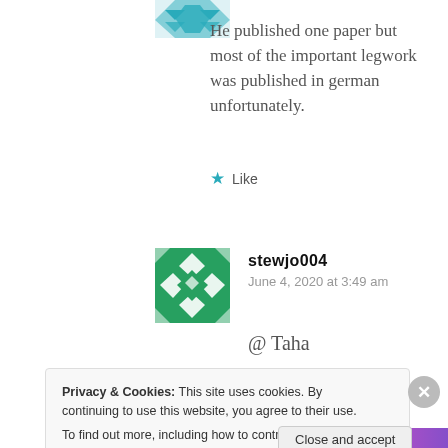[Figure (illustration): Partial teal/cyan geometric avatar icon at top left, cropped]
He published one paper but most of the important legwork was published in german unfortunately.
Like
[Figure (illustration): Green geometric Gravatar-style avatar for user stewjo004]
stewjo004
June 4, 2020 at 3:49 am
@ Taha
Privacy & Cookies: This site uses cookies. By continuing to use this website, you agree to their use.
To find out more, including how to control cookies, see here: Cookie Policy
Close and accept
[Figure (illustration): Colorful decorative banner strip at the bottom]